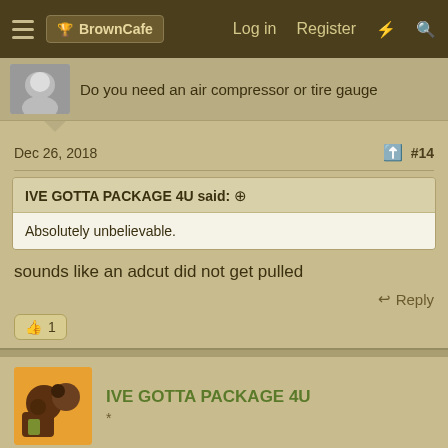BrownCafe   Log in   Register
Do you need an air compressor or tire gauge
Dec 26, 2018   #14
IVE GOTTA PACKAGE 4U said: ↑
Absolutely unbelievable.
sounds like an adcut did not get pulled
Reply
👍 1
IVE GOTTA PACKAGE 4U
*
Dec 26, 2018   #15